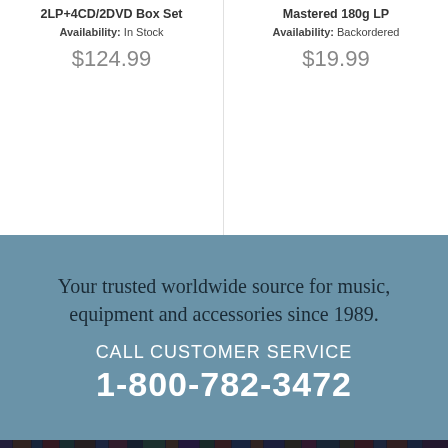2LP+4CD/2DVD Box Set
Availability: In Stock
$124.99
Mastered 180g LP
Availability: Backordered
$19.99
Your trusted worldwide source for music, equipment and accessories since 1989.
CALL CUSTOMER SERVICE
1-800-782-3472
[Figure (photo): Bookshelf with records/media in a dark-lit setting, with overlay text 'WE SHIP EVERYTHING with a little extra care' and body text 'We make sure your order gets delivered... in'. Orange scroll-to-top button in bottom right corner.]